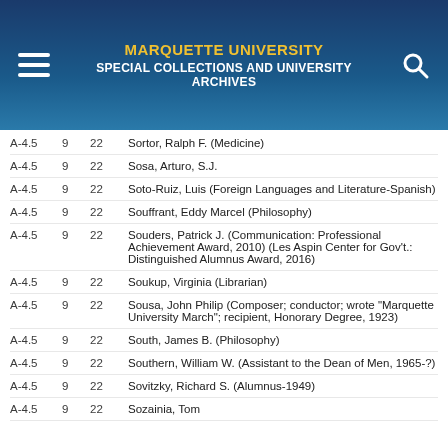MARQUETTE UNIVERSITY SPECIAL COLLECTIONS AND UNIVERSITY ARCHIVES
|  |  |  |  |
| --- | --- | --- | --- |
| A-4.5 | 9 | 22 | Sortor, Ralph F. (Medicine) |
| A-4.5 | 9 | 22 | Sosa, Arturo, S.J. |
| A-4.5 | 9 | 22 | Soto-Ruiz, Luis (Foreign Languages and Literature-Spanish) |
| A-4.5 | 9 | 22 | Souffrant, Eddy Marcel (Philosophy) |
| A-4.5 | 9 | 22 | Souders, Patrick J. (Communication: Professional Achievement Award, 2010) (Les Aspin Center for Gov't.: Distinguished Alumnus Award, 2016) |
| A-4.5 | 9 | 22 | Soukup, Virginia (Librarian) |
| A-4.5 | 9 | 22 | Sousa, John Philip (Composer; conductor; wrote "Marquette University March"; recipient, Honorary Degree, 1923) |
| A-4.5 | 9 | 22 | South, James B. (Philosophy) |
| A-4.5 | 9 | 22 | Southern, William W. (Assistant to the Dean of Men, 1965-?) |
| A-4.5 | 9 | 22 | Sovitzky, Richard S. (Alumnus-1949) |
| A-4.5 | 9 | 22 | Sozainia, Tom |